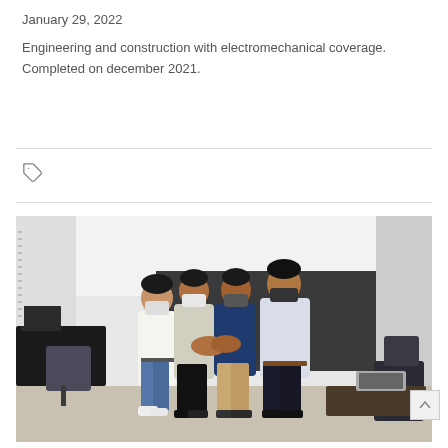January 29, 2022
Engineering and construction with electromechanical coverage. Completed on december 2021.
[Figure (photo): Four people wearing face masks doing a fist bump/team gesture in an office setting with desks and chairs in the background.]